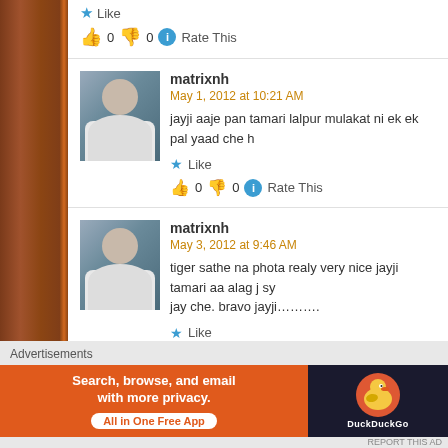👍 0 👎 0 ℹ Rate This
matrixnh
May 1, 2012 at 10:21 AM
jayji aaje pan tamari lalpur mulakat ni ek ek pal yaad che h
★ Like
👍 0 👎 0 ℹ Rate This
matrixnh
May 3, 2012 at 9:46 AM
tiger sathe na phota realy very nice jayji tamari aa alag j sy jay che. bravo jayji..........
★ Like
👍 0 👎 0 ℹ Rate This
Advertisements
[Figure (screenshot): DuckDuckGo advertisement banner: 'Search, browse, and email with more privacy. All in One Free App' on orange background with DuckDuckGo duck logo on dark background]